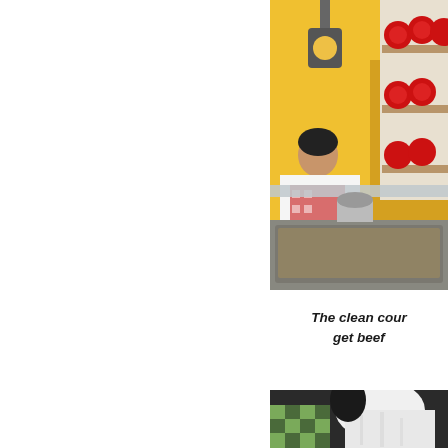[Figure (photo): A woman working behind a food service counter at what appears to be a restaurant or food stall. She is wearing a red and white patterned apron and is tending to metal trays of food. In the background there is a yellow sign and a wooden shelf with red round objects (possibly apples or candy apples). A hanging light fixture is visible.]
The clean cour get beef
[Figure (photo): A partial view of a person wearing a white chef's hat and what appears to be a green and white patterned garment, photographed from close range.]